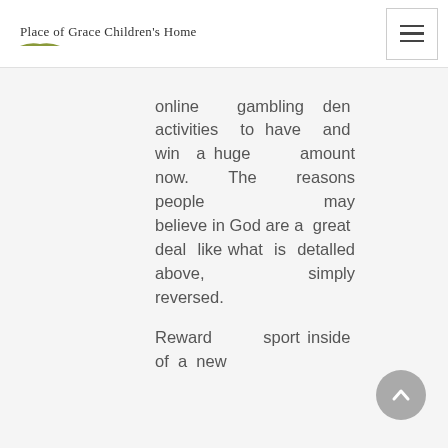Place of Grace Children's Home
online gambling den activities to have and win a huge amount now. The reasons people may believe in God are a great deal like what is detalled above, simply reversed.

Reward sport inside of a new
[Figure (other): Scroll-to-top button with upward chevron arrow, grey circular button in lower right corner]